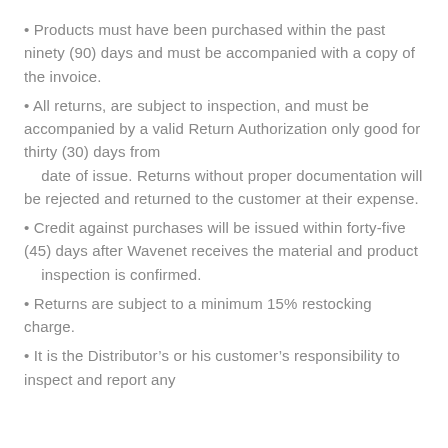Products must have been purchased within the past ninety (90) days and must be accompanied with a copy of the invoice.
All returns, are subject to inspection, and must be accompanied by a valid Return Authorization only good for thirty (30) days from date of issue. Returns without proper documentation will be rejected and returned to the customer at their expense.
Credit against purchases will be issued within forty-five (45) days after Wavenet receives the material and product inspection is confirmed.
Returns are subject to a minimum 15% restocking charge.
It is the Distributor's or his customer's responsibility to inspect and report any